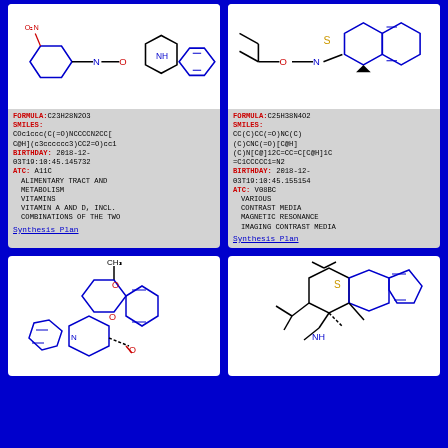[Figure (chemical-structure): Molecular structure diagram of C23H28N2O3]
FORMULA: C23H28N2O3
SMILES:
COc1ccc(C(=O)NCCCCN2CC[C@H](c3cccccc3)CC2=O)cc1
BIRTHDAY: 2018-12-03T19:10:45.145732
ATC: A11C
  ALIMENTARY TRACT AND METABOLISM
  VITAMINS
  VITAMIN A AND D, INCL. COMBINATIONS OF THE TWO
Synthesis Plan
[Figure (chemical-structure): Molecular structure diagram of C25H38N4O2]
FORMULA: C25H38N4O2
SMILES:
CC(C)CC(=O)NC(C)(C)CNC(=O)[C@H](C)N[C@]12C=CC=C[C@H]1C=C1CCCCC1=N2
BIRTHDAY: 2018-12-03T19:10:45.155154
ATC: V08BC
  VARIOUS
  CONTRAST MEDIA
  MAGNETIC RESONANCE IMAGING CONTRAST MEDIA
Synthesis Plan
[Figure (chemical-structure): Molecular structure diagram of a complex organic molecule with benzofuran and imidazoline rings]
[Figure (chemical-structure): Molecular structure diagram of a complex organic molecule with thiane and indane rings]